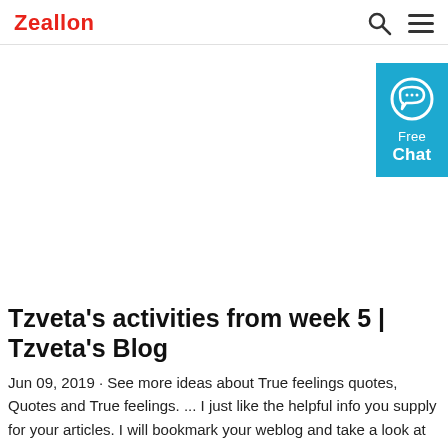Zeallon
[Figure (other): White advertisement area with a teal/blue Free Chat widget on the right side featuring a chat bubble icon]
Tzveta's activities from week 5 | Tzveta's Blog
Jun 09, 2019 · See more ideas about True feelings quotes, Quotes and True feelings. ... I just like the helpful info you supply for your articles. I will bookmark your weblog and take a look at once more